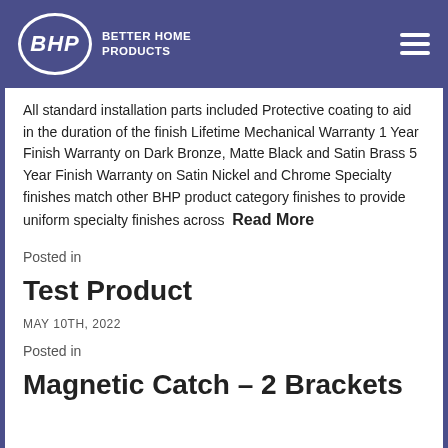BHP Better Home Products
All standard installation parts included Protective coating to aid in the duration of the finish Lifetime Mechanical Warranty 1 Year Finish Warranty on Dark Bronze, Matte Black and Satin Brass 5 Year Finish Warranty on Satin Nickel and Chrome Specialty finishes match other BHP product category finishes to provide uniform specialty finishes across  Read More
Posted in
Test Product
MAY 10TH, 2022
Posted in
Magnetic Catch – 2 Brackets